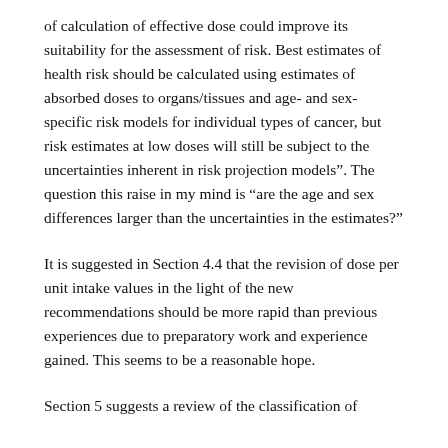of calculation of effective dose could improve its suitability for the assessment of risk. Best estimates of health risk should be calculated using estimates of absorbed doses to organs/tissues and age- and sex-specific risk models for individual types of cancer, but risk estimates at low doses will still be subject to the uncertainties inherent in risk projection models". The question this raise in my mind is “are the age and sex differences larger than the uncertainties in the estimates?”
It is suggested in Section 4.4 that the revision of dose per unit intake values in the light of the new recommendations should be more rapid than previous experiences due to preparatory work and experience gained. This seems to be a reasonable hope.
Section 5 suggests a review of the classification of